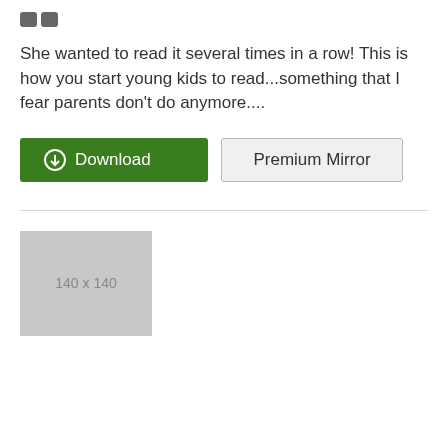[Figure (illustration): Two dark gray quotation mark icons]
She wanted to read it several times in a row! This is how you start young kids to read...something that I fear parents don't do anymore....
[Figure (other): Download button (green) and Premium Mirror button (light gray with border)]
[Figure (other): Placeholder image 140 x 140 (light gray rectangle)]